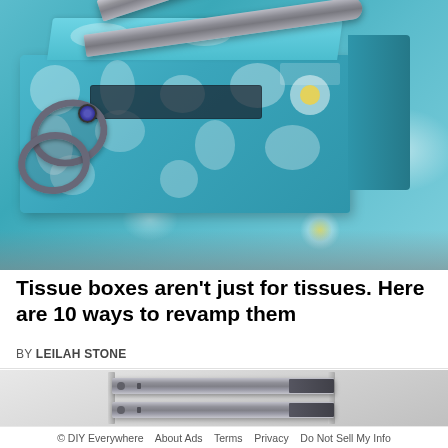[Figure (photo): A teal/turquoise Kleenex tissue box with white floral pattern, with a pair of gray metal scissors resting on top of and across the box, on a light gray surface.]
Tissue boxes aren't just for tissues. Here are 10 ways to revamp them
BY LEILAH STONE
[Figure (photo): Close-up photo of drawer slides/rails mounted on a white wall or cabinet, showing two metal drawer slide mechanisms with mounting hardware.]
© DIY Everywhere   About Ads   Terms   Privacy   Do Not Sell My Info